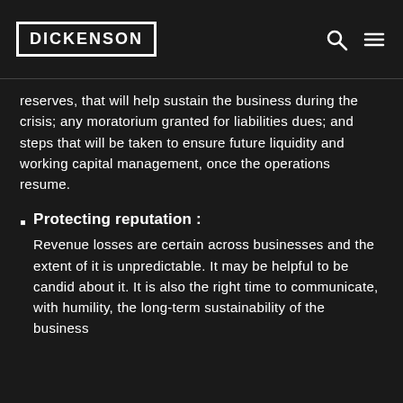DICKENSON
reserves, that will help sustain the business during the crisis; any moratorium granted for liabilities dues; and steps that will be taken to ensure future liquidity and working capital management, once the operations resume.
Protecting reputation : Revenue losses are certain across businesses and the extent of it is unpredictable. It may be helpful to be candid about it. It is also the right time to communicate, with humility, the long-term sustainability of the business